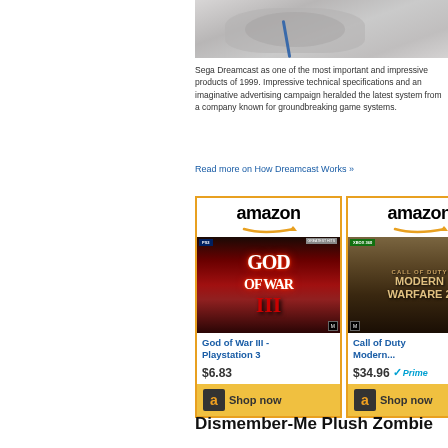[Figure (photo): Cropped photo of a Sega Dreamcast controller, gray/white, partially visible from above on a light surface]
Sega Dreamcast as one of the most important and impressive products of 1999. Impressive technical specifications and an imaginative advertising campaign heralded the latest system from a company known for groundbreaking game systems.
Read more on How Dreamcast Works »
[Figure (other): Amazon product card for God of War III - Playstation 3, showing Amazon logo, product cover image, price $6.83, and Shop now button]
[Figure (other): Amazon product card for Call of Duty Modern..., showing Amazon logo, product cover image, price $34.96, Prime badge, and Shop now button]
Dismember-Me Plush Zombie